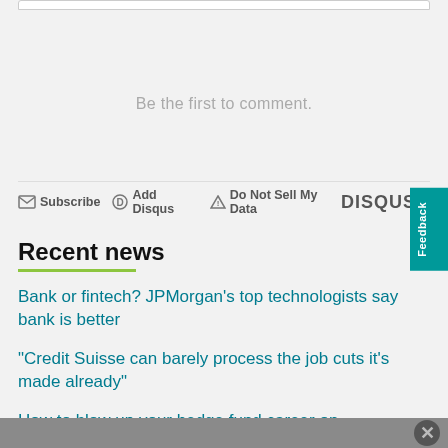Be the first to comment.
Subscribe  Add Disqus  Do Not Sell My Data  DISQUS
Recent news
Bank or fintech? JPMorgan's top technologists say bank is better
"Credit Suisse can barely process the job cuts it's made already"
How to blow up your hedge fund career on Bloomberg chat